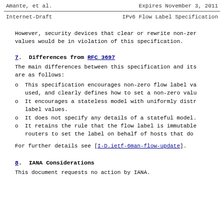Amante, et al.                    Expires November 3, 2011
Internet-Draft              IPv6 Flow Label Specification
However, security devices that clear or rewrite non-zero
   values would be in violation of this specification.
7.  Differences from RFC 3697
The main differences between this specification and its
   are as follows:
o  This specification encourages non-zero flow label va
      used, and clearly defines how to set a non-zero valu
o  It encourages a stateless model with uniformly distr
      label values.
o  It does not specify any details of a stateful model.
o  It retains the rule that the flow label is immutable
      routers to set the label on behalf of hosts that do
For further details see [I-D.ietf-6man-flow-update].
8.  IANA Considerations
This document requests no action by IANA.